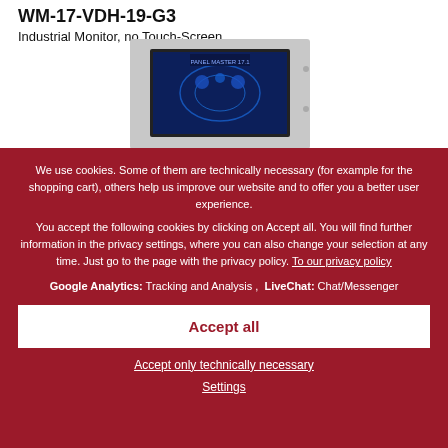WM-17-VDH-19-G3
Industrial Monitor, no Touch-Screen
[Figure (photo): Industrial monitor product photo showing a flat panel display with a blue industrial UI screen, mounted in a gray rectangular housing]
We use cookies. Some of them are technically necessary (for example for the shopping cart), others help us improve our website and to offer you a better user experience.
You accept the following cookies by clicking on Accept all. You will find further information in the privacy settings, where you can also change your selection at any time. Just go to the page with the privacy policy. To our privacy policy
Google Analytics: Tracking and Analysis , LiveChat: Chat/Messenger
Accept all
Accept only technically necessary
Settings